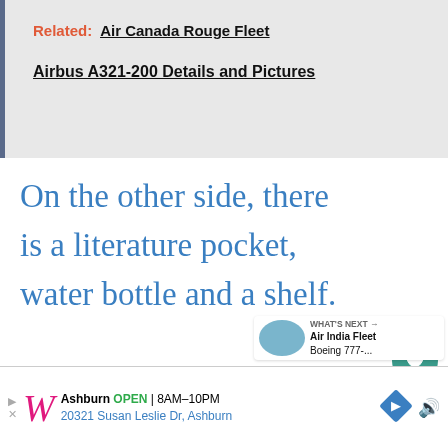Related: Air Canada Rouge Fleet
Airbus A321-200 Details and Pictures
On the other side, there is a literature pocket, water bottle and a shelf.
[Figure (screenshot): What's Next widget showing Air India Fleet Boeing 777-... with airplane thumbnail]
[Figure (screenshot): Advertisement banner: Walgreens Ashburn OPEN 8AM-10PM, 20321 Susan Leslie Dr, Ashburn]